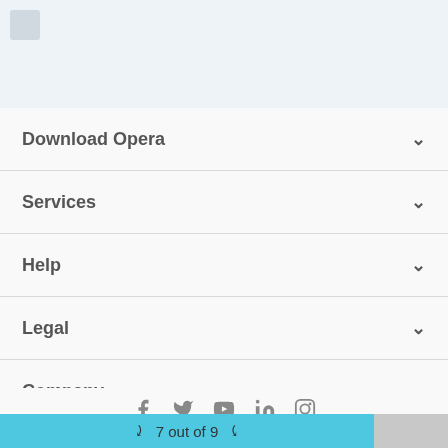[Figure (other): Top header area with light blue-gray background and a small logo/thumbnail in top-left corner]
Download Opera
Services
Help
Legal
Company
[Figure (other): Social media icons row: Facebook, Twitter, YouTube, LinkedIn, Instagram]
7 out of 9